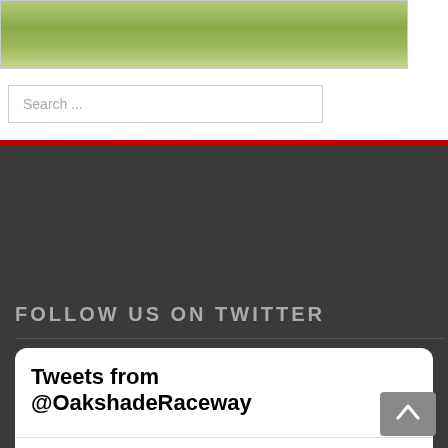[Figure (photo): Grassy field/landscape image at the top of the page]
Search ...
FOLLOW US ON TWITTER
[Figure (screenshot): Twitter widget showing Tweets from @OakshadeRaceway, with a tweet by Oakshade Raceway (@OakshadeRace...) posted 7h ago: 'Eric Carr wins the Compact A Main.' with a photo of a race car and person holding a checkered flag trophy.]